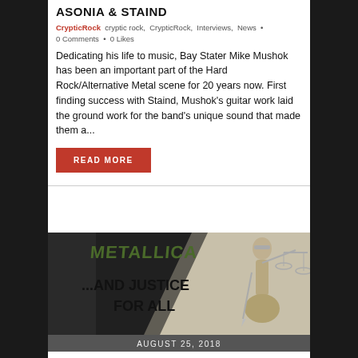ASONIA & STAIND
CrypticRock  cryptic rock,  CrypticRock,  Interviews,  News  •  0 Comments  •  0 Likes
Dedicating his life to music, Bay Stater Mike Mushok has been an important part of the Hard Rock/Alternative Metal scene for 20 years now. First finding success with Staind, Mushok's guitar work laid the ground work for the band's unique sound that made them a...
READ MORE
[Figure (illustration): Metallica ...And Justice For All album cover art showing the band logo and a blindfolded Lady Justice figure holding scales]
AUGUST 25, 2018